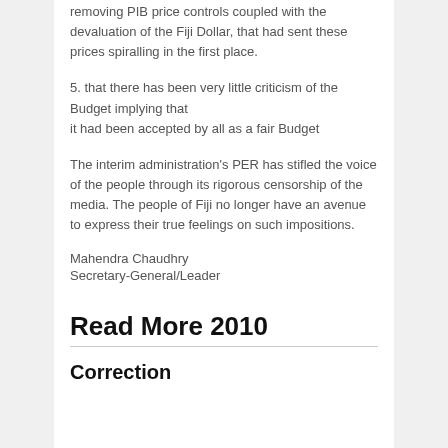removing PIB price controls coupled with the devaluation of the Fiji Dollar, that had sent these prices spiralling in the first place.
5. that there has been very little criticism of the Budget implying that it had been accepted by all as a fair Budget
The interim administration's PER has stifled the voice of the people through its rigorous censorship of the media. The people of Fiji no longer have an avenue to express their true feelings on such impositions.
Mahendra Chaudhry
Secretary-General/Leader
Read More 2010
Correction